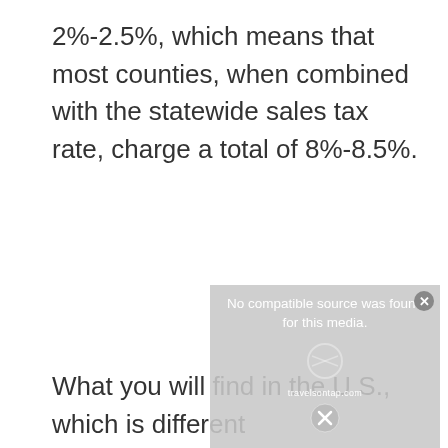2%-2.5%, which means that most counties, when combined with the statewide sales tax rate, charge a total of 8%-8.5%.
[Figure (screenshot): Video player overlay showing 'No compatible source was found for this media.' error message with a close button (X circle) and a travelsontap.com watermark logo with an X dismiss button.]
What you will find in the U.S., which is different